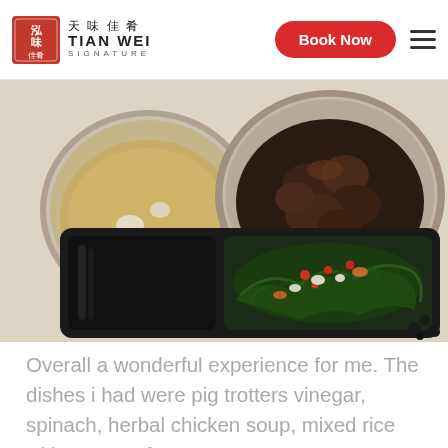TIAN WEI SIGNATURE | Book Now
[Figure (photo): Photo of a Chinese confinement meal set: two round plastic bowls on a white surface — one with herbal chicken soup (clear broth with white ingredients), one with pig trotters in dark vinegar sauce. In the foreground is a black rectangular meal tray with two compartments — left compartment empty/dark, right compartment filled with stir-fried spinach with colorful garnishes (red wolfberries, white garlic pieces, orange carrot slices).]
Overall a wonderful experience for me. The dishes i had were pig trotters vinegar, spinach, herbal chicken soup, mixed rice with 2 cups of